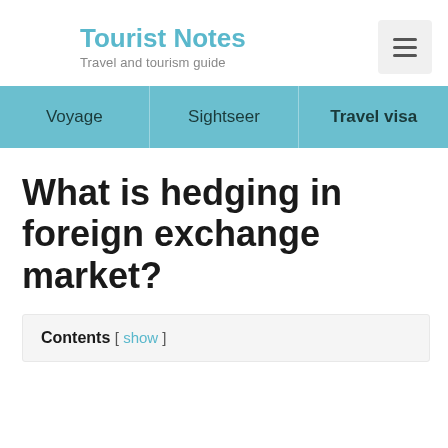Tourist Notes — Travel and tourism guide
Voyage | Sightseer | Travel visa
What is hedging in foreign exchange market?
Contents [ show ]